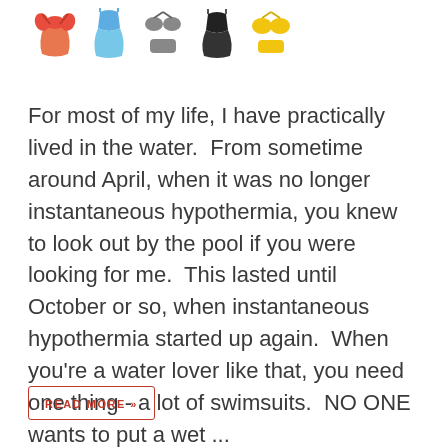[Figure (illustration): Row of 10 small swimsuit/bikini icons in various colors (red, teal, grey, black/white, yellow) arranged horizontally at the top of the page.]
For most of my life, I have practically lived in the water.  From sometime around April, when it was no longer instantaneous hypothermia, you knew to look out by the pool if you were looking for me.  This lasted until October or so, when instantaneous hypothermia started up again.  When you're a water lover like that, you need one thing - a lot of swimsuits.  NO ONE wants to put a wet ...
READ MORE »